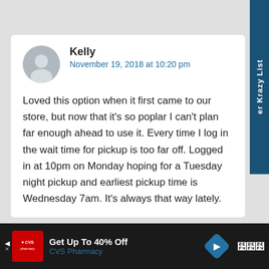er Krazy List
Kelly
November 19, 2018 at 10:20 pm

Loved this option when it first came to our store, but now that it's so poplar I can't plan far enough ahead to use it. Every time I log in the wait time for pickup is too far off. Logged in at 10pm on Monday hoping for a Tuesday night pickup and earliest pickup time is Wednesday 7am. It's always that way lately.
Get Up To 40% Off
CVS Pharmacy